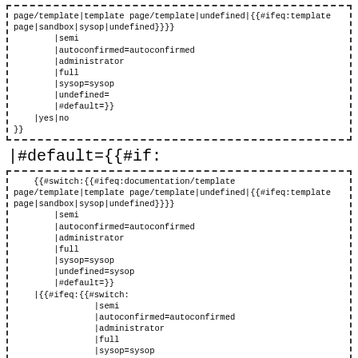page/template|template page/template|undefined|{{#ifeq:template page|sandbox|sysop|undefined}}}}
        |semi
        |autoconfirmed=autoconfirmed
        |administrator
        |full
        |sysop=sysop
        |undefined=
        |#default=}}
    |yes|no
}}
|#default={{#if:
{{#switch:{{#ifeq:documentation/template page/template|template page/template|undefined|{{#ifeq:template page|sandbox|sysop|undefined}}}}
        |semi
        |autoconfirmed=autoconfirmed
        |administrator
        |full
        |sysop=sysop
        |undefined=sysop
        |#default=}}
    |{{#ifeq:{{#switch:
                |semi
                |autoconfirmed=autoconfirmed
                |administrator
                |full
                |sysop=sysop
                |#default=}}
        |{{#switch:{{#ifeq:documentation/template page/template|template page/template|undefined|{{#ifeq:template page|sandbox|sysop|undefined}}}}